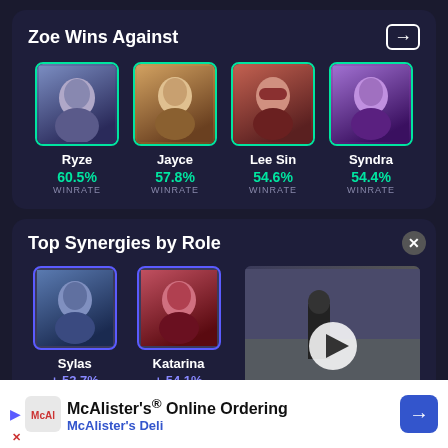Zoe Wins Against
| Champion | Winrate |
| --- | --- |
| Ryze | 60.5% WINRATE |
| Jayce | 57.8% WINRATE |
| Lee Sin | 54.6% WINRATE |
| Syndra | 54.4% WINRATE |
Top Synergies by Role
| Champion | Rate | Games |
| --- | --- | --- |
| Sylas | + 53.7% | 101 GAMES |
| Katarina | + 54.1% | 85 GAMES |
[Figure (photo): Video thumbnail showing a man in a suit near cars under a bridge with a play button overlay]
McAlister's® Online Ordering
McAlister's Deli